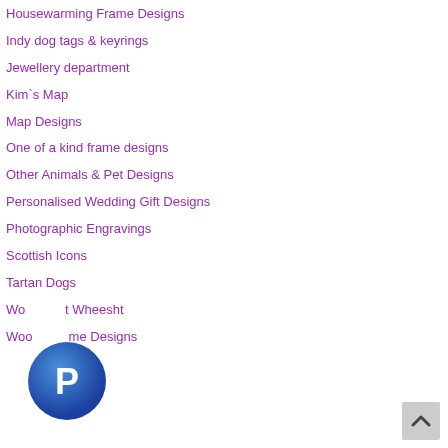Housewarming Frame Designs
Indy dog tags & keyrings
Jewellery department
Kim`s Map
Map Designs
One of a kind frame designs
Other Animals & Pet Designs
Personalised Wedding Gift Designs
Photographic Engravings
Scottish Icons
Tartan Dogs
Woo... t Wheesht
Woo... me Designs
[Figure (logo): PayPal circular blue icon with white P letter]
[Figure (other): Gray scroll-to-top button with up arrow]